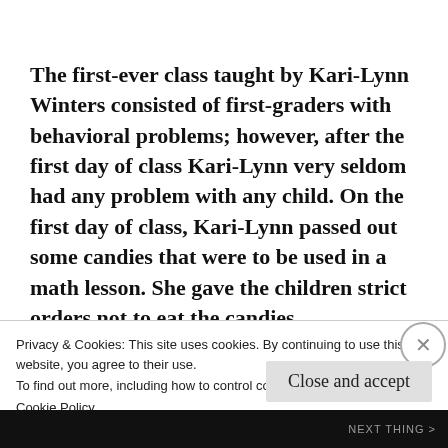The first-ever class taught by Kari-Lynn Winters consisted of first-graders with behavioral problems; however, after the first day of class Kari-Lynn very seldom had any problem with any child. On the first day of class, Kari-Lynn passed out some candies that were to be used in a math lesson. She gave the children strict orders not to eat the candies yet, but a small girl did eat some candies and
Privacy & Cookies: This site uses cookies. By continuing to use this website, you agree to their use.
To find out more, including how to control cookies, see here:
Cookie Policy
Close and accept